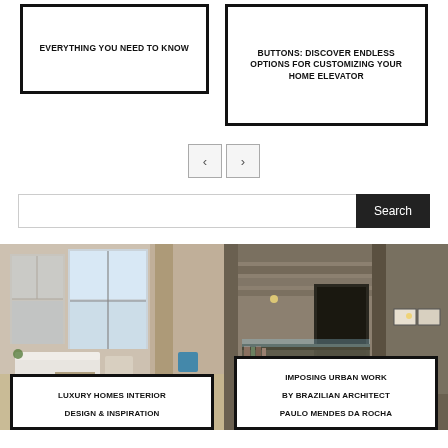EVERYTHING YOU NEED TO KNOW
BUTTONS: DISCOVER ENDLESS OPTIONS FOR CUSTOMIZING YOUR HOME ELEVATOR
[Figure (other): Navigation previous and next buttons]
[Figure (other): Search bar with Search button]
[Figure (photo): Luxury home interior with white sofas, brick walls, large windows]
LUXURY HOMES INTERIOR DESIGN & INSPIRATION
[Figure (photo): Imposing urban concrete architecture interior by Brazilian architect Paulo Mendes da Rocha]
IMPOSING URBAN WORK BY BRAZILIAN ARCHITECT PAULO MENDES DA ROCHA